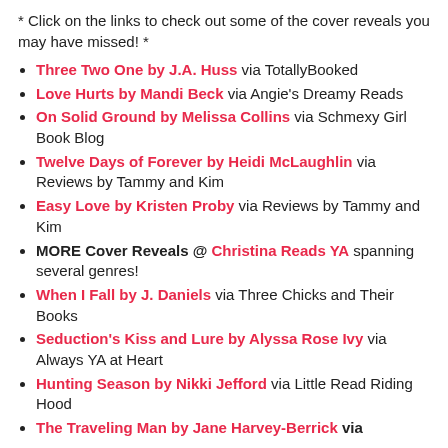* Click on the links to check out some of the cover reveals you may have missed! *
Three Two One by J.A. Huss via TotallyBooked
Love Hurts by Mandi Beck via Angie's Dreamy Reads
On Solid Ground by Melissa Collins via Schmexy Girl Book Blog
Twelve Days of Forever by Heidi McLaughlin via Reviews by Tammy and Kim
Easy Love by Kristen Proby via Reviews by Tammy and Kim
MORE Cover Reveals @ Christina Reads YA spanning several genres!
When I Fall by J. Daniels via Three Chicks and Their Books
Seduction's Kiss and Lure by Alyssa Rose Ivy via Always YA at Heart
Hunting Season by Nikki Jefford via Little Read Riding Hood
The Traveling Man by Jane Harvey-Berrick via